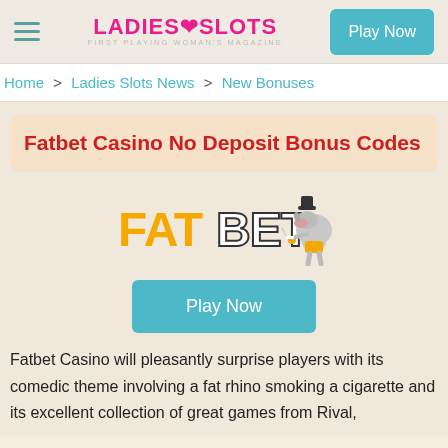Ladies Slots — First Playing Woman's Magazine | Play Now
Home > Ladies Slots News > New Bonuses
Fatbet Casino No Deposit Bonus Codes
[Figure (logo): FatBet casino logo with fat rhino mascot character]
Play Now
Fatbet Casino will pleasantly surprise players with its comedic theme involving a fat rhino smoking a cigarette and its excellent collection of great games from Rival,